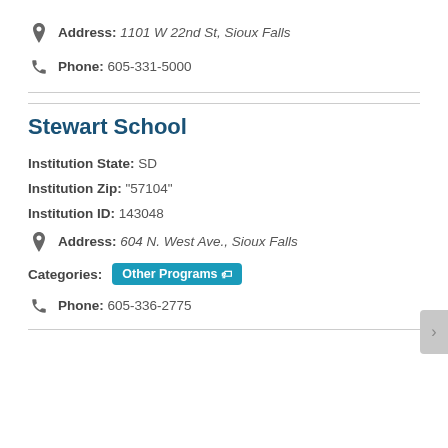Address: 1101 W 22nd St, Sioux Falls
Phone: 605-331-5000
Stewart School
Institution State: SD
Institution Zip: "57104"
Institution ID: 143048
Address: 604 N. West Ave., Sioux Falls
Categories: Other Programs
Phone: 605-336-2775